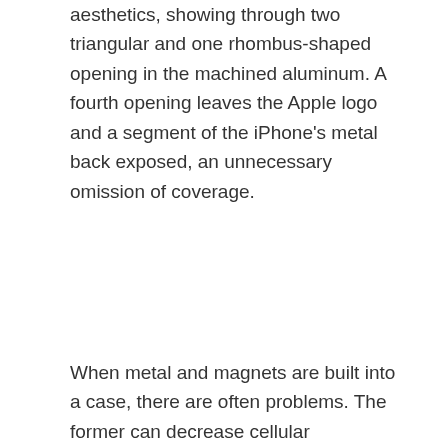aesthetics, showing through two triangular and one rhombus-shaped opening in the machined aluminum. A fourth opening leaves the Apple logo and a segment of the iPhone's metal back exposed, an unnecessary omission of coverage.
When metal and magnets are built into a case, there are often problems. The former can decrease cellular